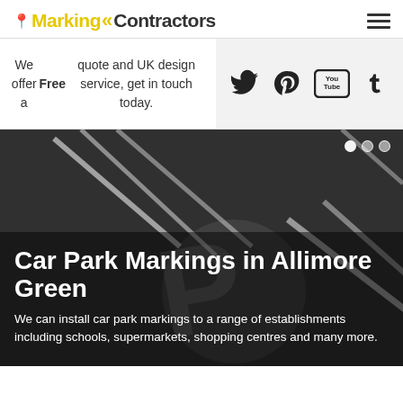[Figure (logo): Marking Contractors logo with yellow pin icon, yellow double chevron, and bold text]
We offer a Free quote and UK design service, get in touch today.
[Figure (infographic): Social media icons: Twitter, Pinterest, YouTube, Tumblr on grey background]
[Figure (photo): Car park with white line markings on dark asphalt, showing parking bay lines and disabled parking symbol]
Car Park Markings in Allimore Green
We can install car park markings to a range of establishments including schools, supermarkets, shopping centres and many more.